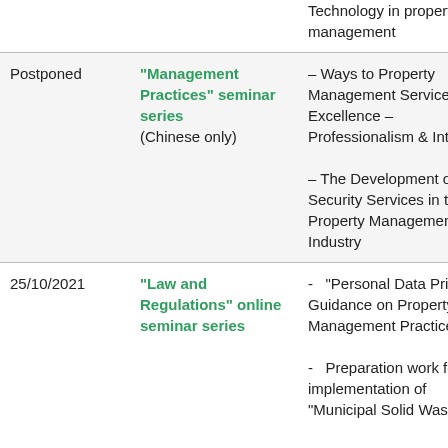| Date | Series | Topics |
| --- | --- | --- |
|  |  | Technology in property management |
| Postponed | "Management Practices" seminar series (Chinese only) | – Ways to Property Management Service Excellence – Professionalism & Integrity
– The Development of Security Services in the Property Management Industry |
| 25/10/2021 | "Law and Regulations" online seminar series | - "Personal Data Privacy: Guidance on Property Management Practices"
- Preparation work for the implementation of "Municipal Solid Waste |